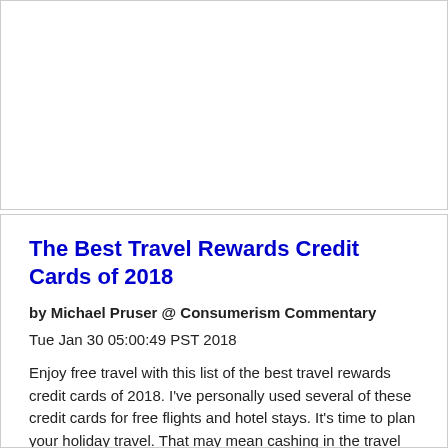[Figure (other): Empty white card/box at the top of the page]
The Best Travel Rewards Credit Cards of 2018
by Michael Pruser @ Consumerism Commentary
Tue Jan 30 05:00:49 PST 2018
Enjoy free travel with this list of the best travel rewards credit cards of 2018. I've personally used several of these credit cards for free flights and hotel stays. It's time to plan your holiday travel. That may mean cashing in the travel rewards you've accumulated on credit cards–or it may mean starting to use […]
The post The Best Travel Rewards Credit Cards of 2018 appeared first on Consumerism Commentary.